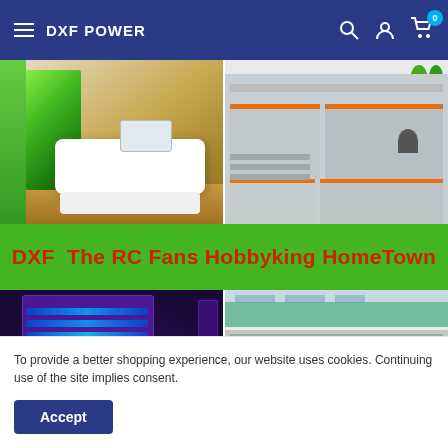DXF POWER
[Figure (photo): Website screenshot showing DXF POWER e-commerce store with navigation bar, company facility photos (reception area, office workspace, equipment racks with purple lighting, factory floor), green banner reading 'DXF The RC Fans Hobbyking HomeTown', and a cookie consent popup with Accept button]
To provide a better shopping experience, our website uses cookies. Continuing use of the site implies consent.
Accept